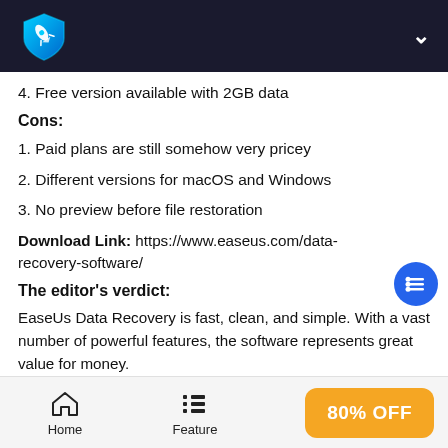4. Free version available with 2GB data
Cons:
1. Paid plans are still somehow very pricey
2. Different versions for macOS and Windows
3. No preview before file restoration
Download Link: https://www.easeus.com/data-recovery-software/
The editor's verdict:
EaseUs Data Recovery is fast, clean, and simple. With a vast number of powerful features, the software represents great value for money.
Home   Feature   80% OFF